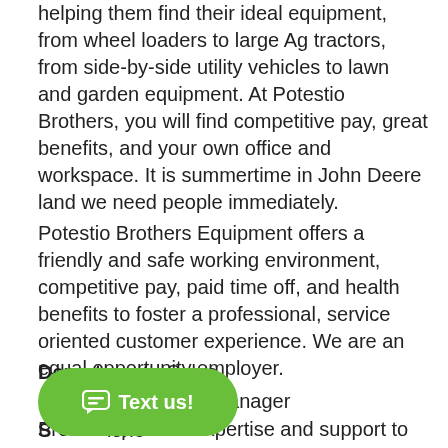helping them find their ideal equipment, from wheel loaders to large Ag tractors, from side-by-side utility vehicles to lawn and garden equipment. At Potestio Brothers, you will find competitive pay, great benefits, and your own office and workspace. It is summertime in John Deere land we need people immediately.
Potestio Brothers Equipment offers a friendly and safe working environment, competitive pay, paid time off, and health benefits to foster a professional, service oriented customer experience. We are an equal opportunity employer.
Department : Sales
Reports to : Sales Manager
S[...] one
[...]
Provides product expertise and support to customers and dealership personnel in selling Residential and
[Figure (other): Green chat bubble button with speech icon and text 'Text us!']